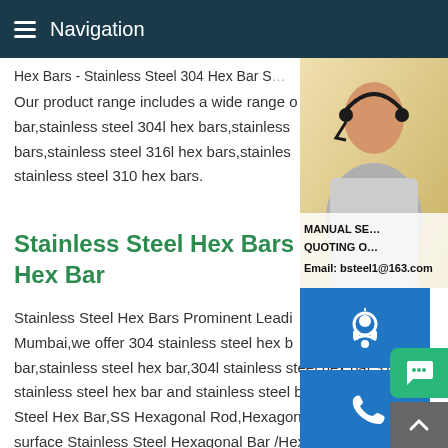Navigation
Hex Bars - Stainless Steel 304 Hex Bar S…
Our product range includes a wide range of … bar,stainless steel 304l hex bars,stainless … bars,stainless steel 316l hex bars,stainless … stainless steel 310 hex bars.
Stainless Steel Hex Bars - 30… Hex Bar
Stainless Steel Hex Bars Prominent Leadi… Mumbai,we offer 304 stainless steel hex b… bar,stainless steel hex bar,304l stainless steel hex bar,316l stainless steel hex bar and stainless steel bright hex bar.Stainless Steel Hex Bar,SS Hexagonal Rod,Hexagon SS Bar Polished bright surface Stainless Steel Hexagonal Bar /Hex Rod SS304 SS31… 99.18- 172.10 / Kilogram High Quality Cold Rolled Stainless S… Hexagonal Bar/ Hex Rod Steel 80,138.54- 1,31,692.62 / Ton
[Figure (photo): Customer service representative woman with headset, with blue icon buttons for headset, phone, and Skype on the right side, and MANUAL SE... QUOTING O... Email: bsteel1@163.com overlay text]